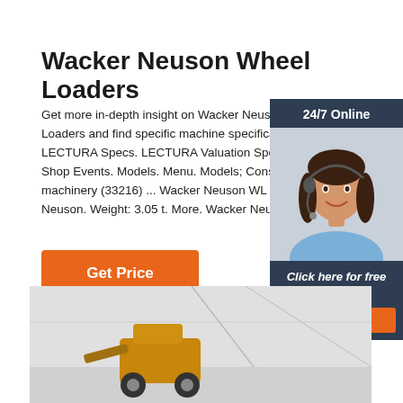Wacker Neuson Wheel Loaders
Get more in-depth insight on Wacker Neuson Wheel Loaders and find specific machine specifications at LECTURA Specs. LECTURA Valuation Specs Shop Events. Models. Menu. Models; Construction machinery (33216) ... Wacker Neuson WL 30. Neuson. Weight: 3.05 t. More. Wacker Neuson.
[Figure (photo): Customer service woman with headset, 24/7 Online chat widget with orange QUOTATION button]
[Figure (photo): Bottom image showing a wheel loader in a light-colored interior/exterior setting]